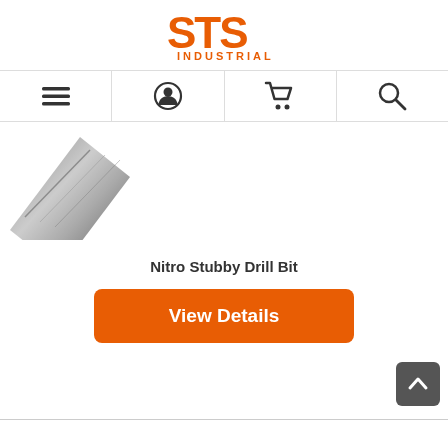[Figure (logo): STS Industrial logo in orange with bold letters STS above the word INDUSTRIAL]
[Figure (screenshot): Navigation bar with four icons: hamburger menu, user/account icon, shopping cart icon, and search/magnifying glass icon]
[Figure (photo): Partial view of a Nitro Stubby Drill Bit shown diagonally against a white background]
Nitro Stubby Drill Bit
[Figure (screenshot): Orange rounded button labeled 'View Details']
[Figure (screenshot): Dark grey back-to-top button with upward chevron arrow in bottom right corner]